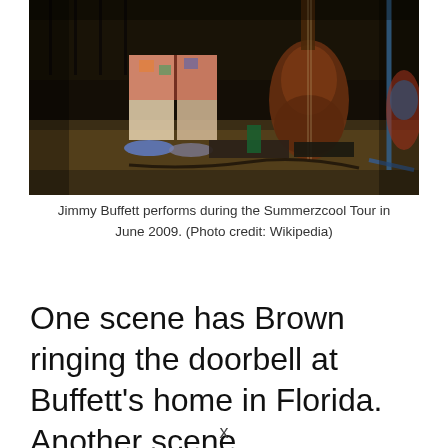[Figure (photo): Jimmy Buffett performing on stage, photo shows lower body/legs in shorts and sandals, with a guitar and microphone stand visible on a dark stage background.]
Jimmy Buffett performs during the Summerzcool Tour in June 2009. (Photo credit: Wikipedia)
One scene has Brown ringing the doorbell at Buffett's home in Florida. Another scene
x